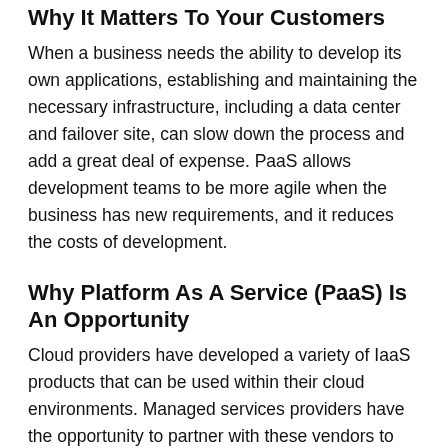Why It Matters To Your Customers
When a business needs the ability to develop its own applications, establishing and maintaining the necessary infrastructure, including a data center and failover site, can slow down the process and add a great deal of expense. PaaS allows development teams to be more agile when the business has new requirements, and it reduces the costs of development.
Why Platform As A Service (PaaS) Is An Opportunity
Cloud providers have developed a variety of IaaS products that can be used within their cloud environments. Managed services providers have the opportunity to partner with these vendors to provide PaaS solutions, and, like with SaaS and IaaS offerings, you will have opportunities to bundle PaaS with other services. For example, a reliable, secure network and